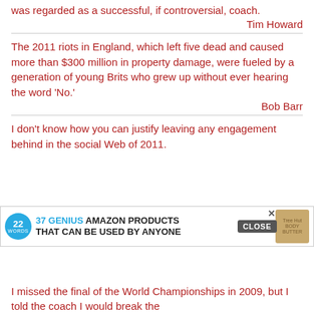was regarded as a successful, if controversial, coach.
Tim Howard
The 2011 riots in England, which left five dead and caused more than $300 million in property damage, were fueled by a generation of young Brits who grew up without ever hearing the word 'No.'
Bob Barr
I don't know how you can justify leaving any engagement behind in the social Web of 2011.
[Figure (other): Advertisement overlay: 37 Genius Amazon Products That Can Be Used By Anyone, from 22 Words. Shows product image (Tree Hut body butter) and CLOSE button.]
rchuk
I missed the final of the World Championships in 2009, but I told the coach I would break the